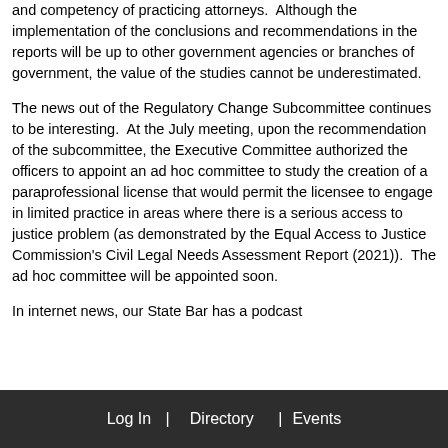and competency of practicing attorneys.  Although the implementation of the conclusions and recommendations in the reports will be up to other government agencies or branches of government, the value of the studies cannot be underestimated.
The news out of the Regulatory Change Subcommittee continues to be interesting.  At the July meeting, upon the recommendation of the subcommittee, the Executive Committee authorized the officers to appoint an ad hoc committee to study the creation of a paraprofessional license that would permit the licensee to engage in limited practice in areas where there is a serious access to justice problem (as demonstrated by the Equal Access to Justice Commission's Civil Legal Needs Assessment Report (2021)).  The ad hoc committee will be appointed soon.
In internet news, our State Bar has a podcast
Log In  |  Directory  |  Events